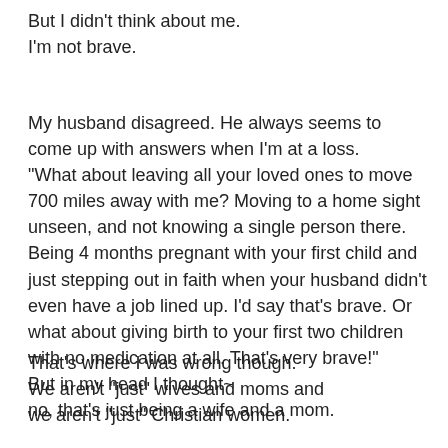But I didn't think about me.
I'm not brave.
My husband disagreed. He always seems to come up with answers when I'm at a loss.
"What about leaving all your loved ones to move 700 miles away with me? Moving to a home sight unseen, and not knowing a single person there. Being 4 months pregnant with your first child and just stepping out in faith when your husband didn't even have a job lined up. I'd say that's brave. Or what about giving birth to your first two children with no medication at all. That's very brave!"
But in my head I thought~
no, that's just being a wife and a mom.
That's where I was wrong though.
We aren't "just" wives and moms and
we aren't "just" Christian women.